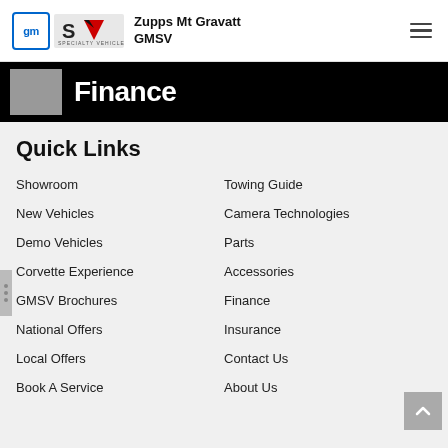Zupps Mt Gravatt GMSV
[Figure (screenshot): Partial hero banner image showing dark background with 'Finance' text partially visible]
Quick Links
Showroom
Towing Guide
New Vehicles
Camera Technologies
Demo Vehicles
Parts
Corvette Experience
Accessories
GMSV Brochures
Finance
National Offers
Insurance
Local Offers
Contact Us
Book A Service
About Us